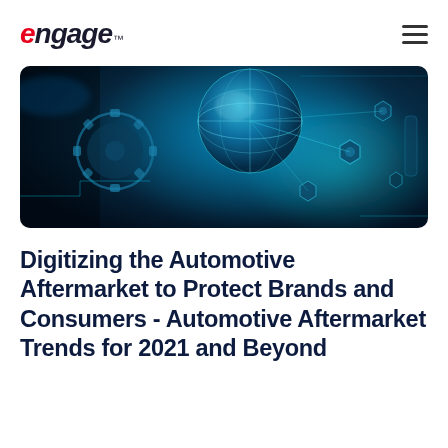engage™
[Figure (photo): Close-up photograph of automotive engine parts and mechanical components with blue digital overlay lighting effects, showing gears, bolts, and circular mechanical elements in a futuristic digital style]
Digitizing the Automotive Aftermarket to Protect Brands and Consumers - Automotive Aftermarket Trends for 2021 and Beyond